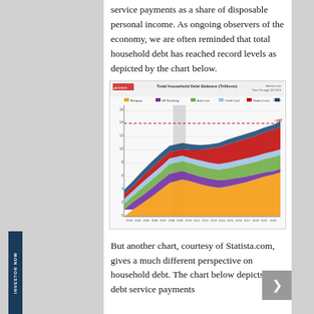service payments as a share of disposable personal income. As ongoing observers of the economy, we are often reminded that total household debt has reached record levels as depicted by the chart below.
[Figure (stacked-bar-chart): Stacked area chart showing Total Household Debt Balance in trillions from 2003 to 2020, broken down by Mortgage, HE Revolving, Auto Loan, Credit Card, Student Loan, and Other. A dashed red line indicates a reference level around $14T. A gray shaded band highlights the 2008-2009 recession period.]
But another chart, courtesy of Statista.com, gives a much different perspective on household debt. The chart below depicts the debt service payments